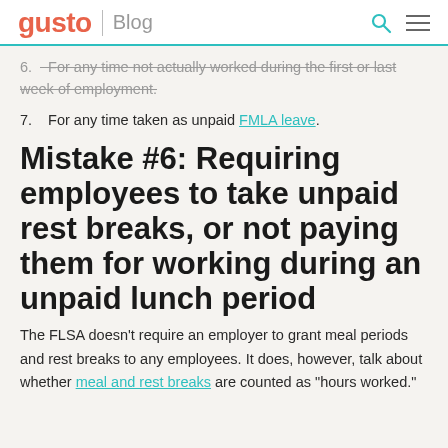gusto | Blog
6. For any time not actually worked during the first or last week of employment.
7. For any time taken as unpaid FMLA leave.
Mistake #6: Requiring employees to take unpaid rest breaks, or not paying them for working during an unpaid lunch period
The FLSA doesn't require an employer to grant meal periods and rest breaks to any employees. It does, however, talk about whether meal and rest breaks are counted as "hours worked."